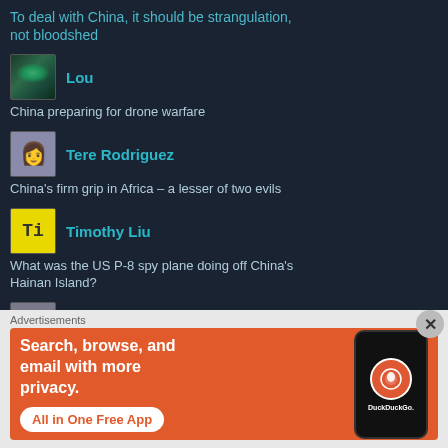To deal with China, it should be strangulation, not bloodshed
Lou
China preparing for drone warfare
Tere Rodriguez
China's firm grip in Africa – a lesser of two evils
Timothy Liu
What was the US P-8 spy plane doing off China's Hainan Island?
Dr. Tom O'Donnell
Venezuelan state's economic response to protests:
Advertisements
[Figure (screenshot): DuckDuckGo advertisement banner: Search, browse, and email with more privacy. All in One Free App. Shows a phone with DuckDuckGo logo.]